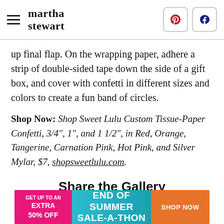martha stewart
up final flap. On the wrapping paper, adhere a strip of double-sided tape down the side of a gift box, and cover with confetti in different sizes and colors to create a fun band of circles.
Shop Now: Shop Sweet Lulu Custom Tissue-Paper Confetti, 3/4", 1", and 1 1/2", in Red, Orange, Tangerine, Carnation Pink, Hot Pink, and Silver Mylar, $7, shopsweetlulu.com.
Share the Gallery
[Figure (infographic): Advertisement banner: GET UP TO AN EXTRA 50% OFF | END OF SUMMER SALE-A-THON | SHOP NOW]